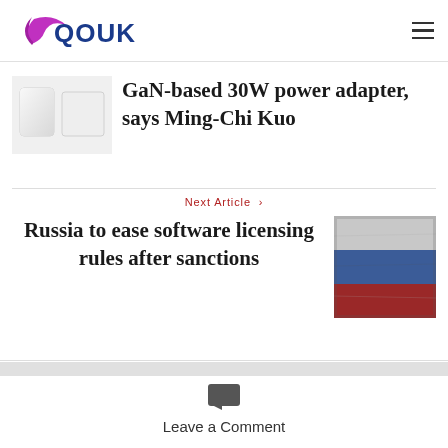[Figure (logo): QOUK website logo with purple crescent shape]
GaN-based 30W power adapter, says Ming-Chi Kuo
Next Article >
Russia to ease software licensing rules after sanctions
[Figure (photo): Russian flag with white, blue, and red horizontal stripes with weathered texture]
Leave a Comment